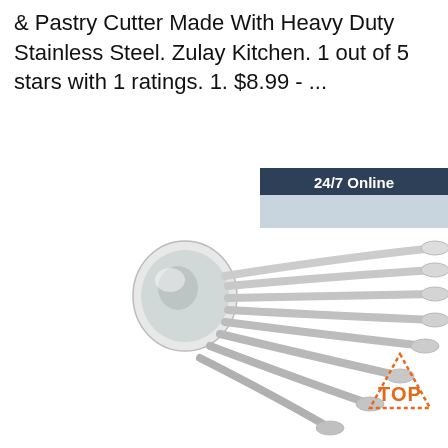& Pastry Cutter Made With Heavy Duty Stainless Steel. Zulay Kitchen. 1 out of 5 stars with 1 ratings. 1. $8.99 - ...
[Figure (other): Orange 'Get Price' button]
[Figure (other): 24/7 Online chat widget with woman wearing headset, 'Click here for free chat!' text, and orange QUOTATION button]
[Figure (photo): Multiple stainless steel spoons fanned out, with TOP badge watermark in bottom right]
[Figure (logo): TOP badge with orange text and dotted triangle outline]